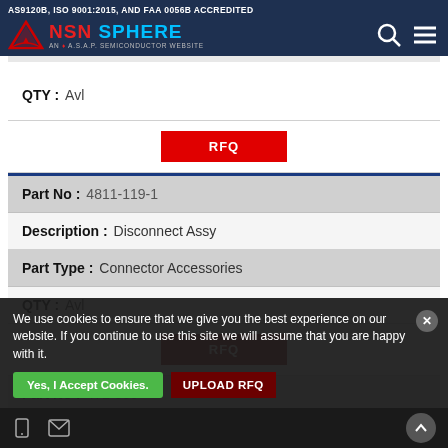AS9120B, ISO 9001:2015, AND FAA 0056B ACCREDITED — NSN SPHERE AN A.S.A.P. SEMICONDUCTOR WEBSITE
| Field | Value |
| --- | --- |
| QTY: | Avl |
| RFQ |  |
| Part No: | 4811-119-1 |
| Description: | Disconnect Assy |
| Part Type: | Connector Accessories |
| QTY: | Avl |
| RFQ |  |
We use cookies to ensure that we give you the best experience on our website. If you continue to use this site we will assume that you are happy with it.
Yes, I Accept Cookies.
UPLOAD RFQ